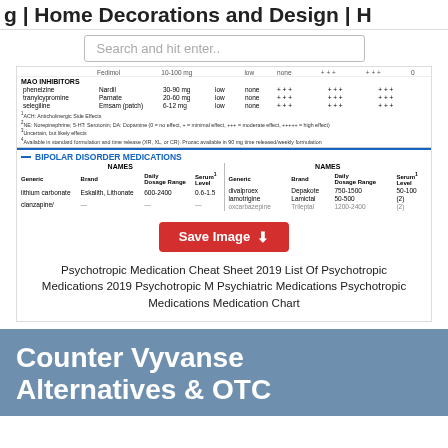g | Home Decorations and Design | H
Search and hit enter..
[Figure (screenshot): Partial screenshot of a Psychotropic Medication Cheat Sheet showing MAO Inhibitors table and Bipolar Disorder Medications table with drug names, brands, dosage ranges, serum levels, and side effect ratings.]
Psychotropic Medication Cheat Sheet 2019 List Of Psychotropic Medications 2019 Psychotropic M Psychiatric Medications Psychotropic Medications Medication Chart
[Figure (illustration): Blue card with white bold text reading 'Counter Vyvanse Alternatives & OTC']